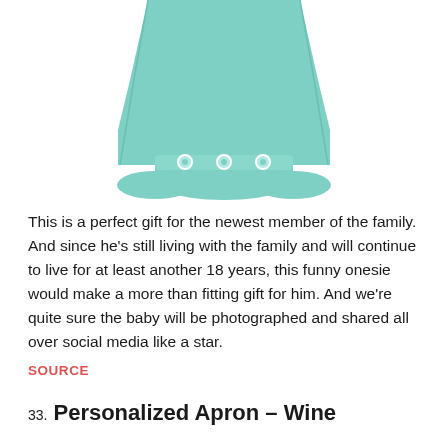[Figure (photo): Bottom portion of a mint/teal colored baby onesie with snap buttons at the crotch, shown on a white background.]
This is a perfect gift for the newest member of the family. And since he's still living with the family and will continue to live for at least another 18 years, this funny onesie would make a more than fitting gift for him. And we're quite sure the baby will be photographed and shared all over social media like a star.
SOURCE
33. Personalized Apron – Wine